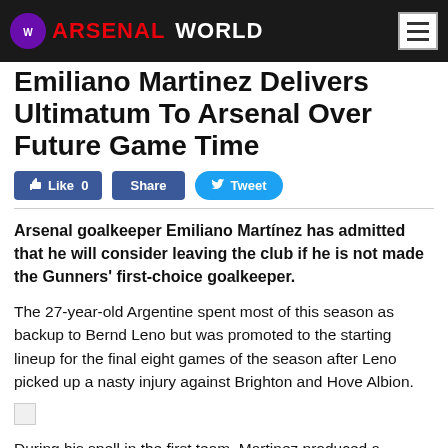ARSENAL WORLD
Emiliano Martinez Delivers Ultimatum To Arsenal Over Future Game Time
Like 0  Share  Tweet
Arsenal goalkeeper Emiliano Martínez has admitted that he will consider leaving the club if he is not made the Gunners' first-choice goalkeeper.
The 27-year-old Argentine spent most of this season as backup to Bernd Leno but was promoted to the starting lineup for the final eight games of the season after Leno picked up a nasty injury against Brighton and Hove Albion.
[Figure (photo): Broken/missing image placeholder]
During his spell in the first team, Martinez produced a